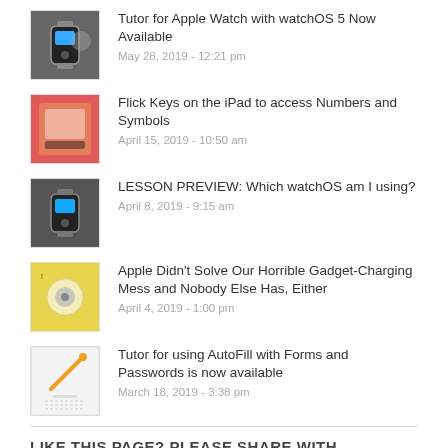Tutor for Apple Watch with watchOS 5 Now Available
May 28, 2019 - 12:21 pm
Flick Keys on the iPad to access Numbers and Symbols
April 15, 2019 - 10:50 am
LESSON PREVIEW: Which watchOS am I using?
April 8, 2019 - 9:15 am
Apple Didn't Solve Our Horrible Gadget-Charging Mess and Nobody Else Has, Either
April 4, 2019 - 1:00 pm
Tutor for using AutoFill with Forms and Passwords is now available
March 18, 2019 - 3:38 pm
LIKE THIS PAGE? PLEASE SHARE WITH FRIENDS/FAMILY.
[Figure (other): Social share icons: Facebook, Twitter, Pinterest, LinkedIn]